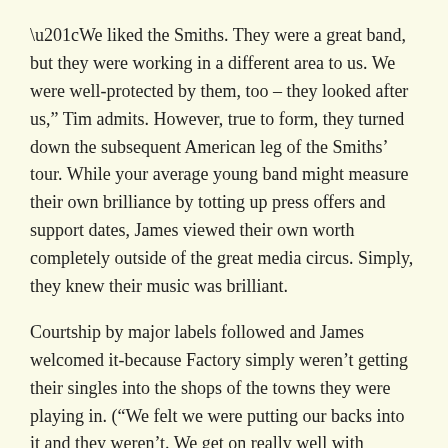“We liked the Smiths. They were a great band, but they were working in a different area to us. We were well-protected by them, too – they looked after us,” Tim admits. However, true to form, they turned down the subsequent American leg of the Smiths’ tour. While your average young band might measure their own brilliance by totting up press offers and support dates, James viewed their own worth completely outside of the great media circus. Simply, they knew their music was brilliant.
Courtship by major labels followed and James welcomed it-because Factory simply weren’t getting their singles into the shops of the towns they were playing in. (“We felt we were putting our backs into it and they weren’t. We get on really well with Factory now – it turns out that they weren’t the people to be frightened of. Sire were.”)
Ah yes – Sire. Entirely down to the naïve belief that any company that signed up the Ramones and Talking